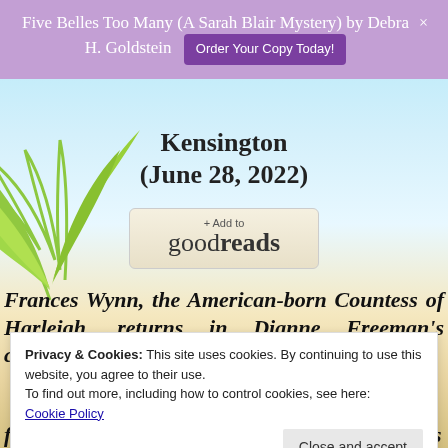Five Belles Too Many (A Sarah Blair Mystery) by Debra H. Goldstein  Order Your Copy Today!  ×
Kensington
(June 28, 2022)
[Figure (other): Goodreads '+ Add to goodreads' button]
Frances Wynn, the American-born Countess of Harleigh, returns in Dianne Freeman's charming, lighthearted mystery series set in
Privacy & Cookies: This site uses cookies. By continuing to use this website, you agree to their use.
To find out more, including how to control cookies, see here:
Cookie Policy
flowers and seating arrangements. The Connors